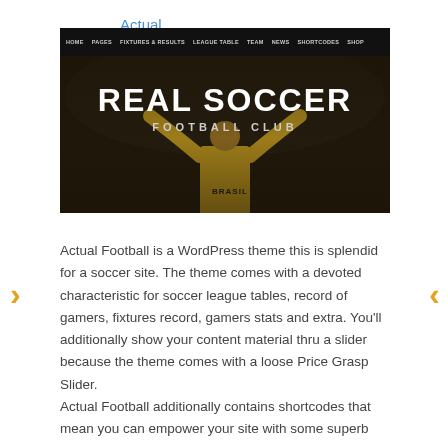Actual Football
[Figure (screenshot): Screenshot of the Actual Football WordPress theme showing a navigation bar with HOME, PAGES, FIXTURES & RESULTS, LEAGUE TABLE, TEAM, NEWS, SHORTCODES, SHOP and a hero image of a soccer player from behind wearing a yellow BRASIL jersey with arms raised, overlaid with white text REAL SOCCER FOOTBALL CLUB]
Actual Football is a WordPress theme this is splendid for a soccer site. The theme comes with a devoted characteristic for soccer league tables, record of gamers, fixtures record, gamers stats and extra. You'll additionally show your content material thru a slider because the theme comes with a loose Price Grasp Slider.
Actual Football additionally contains shortcodes that mean you can empower your site with some superb